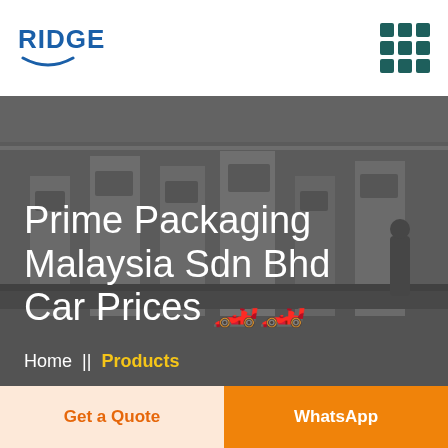RIDGE (logo with arc)
[Figure (photo): Industrial packaging machinery in a factory/warehouse setting, dark overlay, grayscale-tinted]
Prime Packaging Malaysia Sdn Bhd Car Prices 🏎️🏎️
Home  ||  Products
Get a Quote
WhatsApp